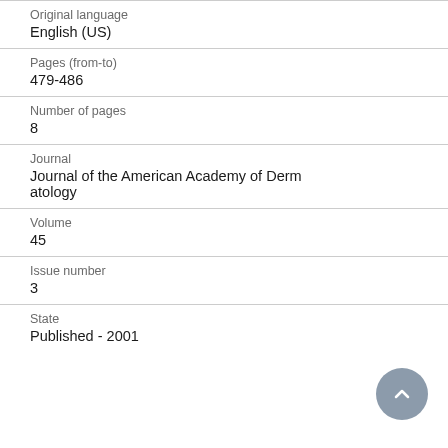Original language
English (US)
Pages (from-to)
479-486
Number of pages
8
Journal
Journal of the American Academy of Dermatology
Volume
45
Issue number
3
State
Published - 2001